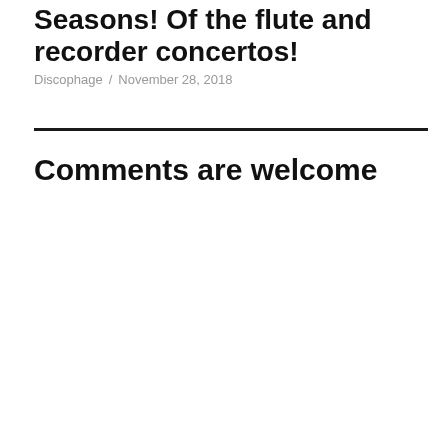Seasons! Of the flute and recorder concertos!
Discophage / November 28, 2018
Comments are welcome